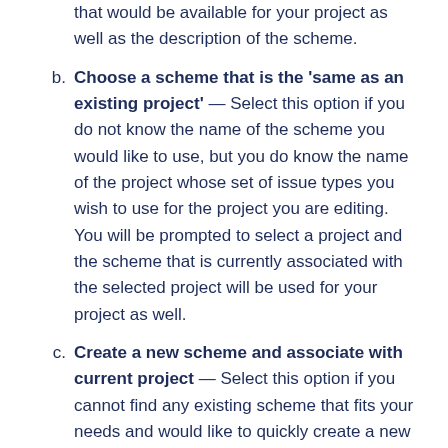that would be available for your project as well as the description of the scheme.
Choose a scheme that is the 'same as an existing project' — Select this option if you do not know the name of the scheme you would like to use, but you do know the name of the project whose set of issue types you wish to use for the project you are editing. You will be prompted to select a project and the scheme that is currently associated with the selected project will be used for your project as well.
Create a new scheme and associate with current project — Select this option if you cannot find any existing scheme that fits your needs and would like to quickly create a new scheme. Simply select the relevant issue types for your project and a new scheme will be